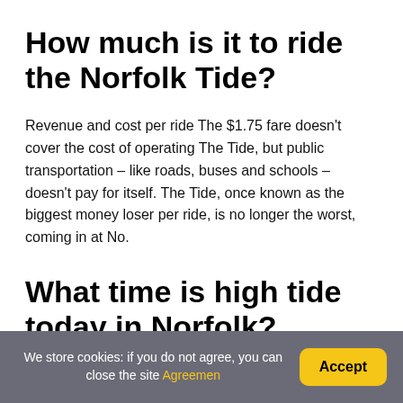How much is it to ride the Norfolk Tide?
Revenue and cost per ride The $1.75 fare doesn't cover the cost of operating The Tide, but public transportation – like roads, buses and schools – doesn't pay for itself. The Tide, once known as the biggest money loser per ride, is no longer the worst, coming in at No.
What time is high tide today in Norfolk?
We store cookies: if you do not agree, you can close the site Agreemen